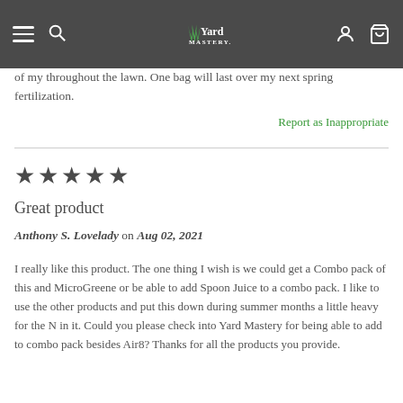Yard Mastery navigation bar
of my throughout the lawn. One bag will last over my next spring fertilization.
Report as Inappropriate
[Figure (other): Five filled star rating icons]
Great product
Anthony S. Lovelady on Aug 02, 2021
I really like this product. The one thing I wish is we could get a Combo pack of this and MicroGreene or be able to add Spoon Juice to a combo pack. I like to use the other products and put this down during summer months a little heavy for the N in it. Could you please check into Yard Mastery for being able to add to combo pack besides Air8? Thanks for all the products you provide.